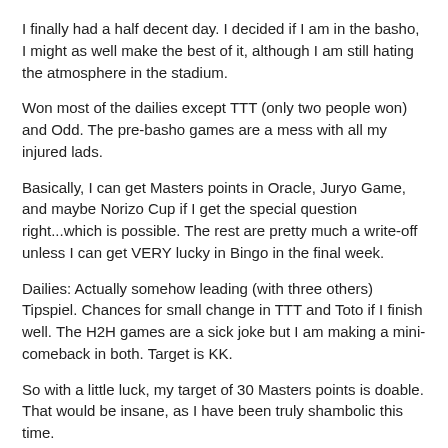I finally had a half decent day. I decided if I am in the basho, I might as well make the best of it, although I am still hating the atmosphere in the stadium.
Won most of the dailies except TTT (only two people won) and Odd. The pre-basho games are a mess with all my injured lads.
Basically, I can get Masters points in Oracle, Juryo Game, and maybe Norizo Cup if I get the special question right...which is possible. The rest are pretty much a write-off unless I can get VERY lucky in Bingo in the final week.
Dailies: Actually somehow leading (with three others) Tipspiel. Chances for small change in TTT and Toto if I finish well. The H2H games are a sick joke but I am making a mini-comeback in both. Target is KK.
So with a little luck, my target of 30 Masters points is doable. That would be insane, as I have been truly shambolic this time.
Not really following it but I believe I am 4-5 down to Ganzo in our contest.
GAMBARIMASU!